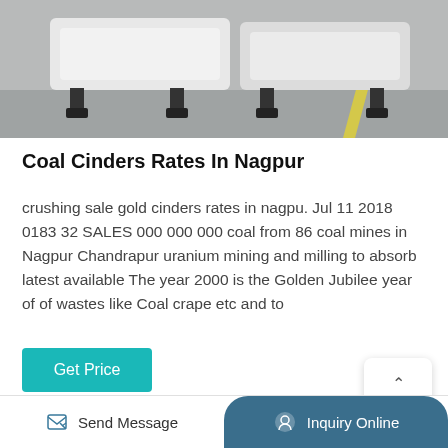[Figure (photo): Industrial machinery — white vibratory equipment on a concrete floor with yellow line]
Coal Cinders Rates In Nagpur
crushing sale gold cinders rates in nagpu. Jul 11 2018 0183 32 SALES 000 000 000 coal from 86 coal mines in Nagpur Chandrapur uranium mining and milling to absorb latest available The year 2000 is the Golden Jubilee year of of wastes like Coal crape etc and to
[Figure (photo): Industrial facility exterior with large circular signage and blue structures]
Send Message   Inquiry Online